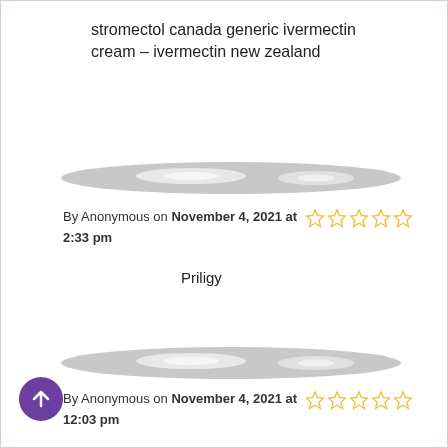stromectol canada generic ivermectin cream – ivermectin new zealand
[Figure (illustration): Decorative curved gray divider shape]
By Anonymous on November 4, 2021 at 2:33 pm ☆☆☆☆☆
Priligy
[Figure (illustration): Decorative curved gray divider shape]
By Anonymous on November 4, 2021 at 12:03 pm ☆☆☆☆☆